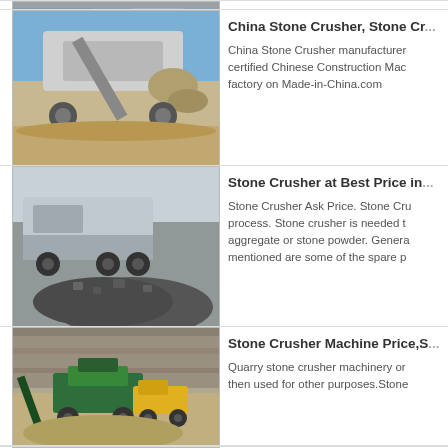[Figure (photo): Partial top image of stone crusher machinery, cropped at top of page]
[Figure (photo): Photo of a large mobile stone crusher machine pouring crushed material onto a sandy ground outdoors]
China Stone Crusher, Stone Cr...
China Stone Crusher manufacturers ... certified Chinese Construction Mac... factory on Made-in-China.com
[Figure (photo): Photo of a mobile stone crusher surrounded by piles of crushed dark stone aggregate]
Stone Crusher at Best Price in...
Stone Crusher Ask Price. Stone Cru... process. Stone crusher is needed t... aggregate or stone powder. Genera... mentioned are some of the spare p...
[Figure (photo): Photo of a green stone crusher machine operating in a quarry with large stone walls in background]
Stone Crusher Machine Price,S...
Quarry stone crusher machinery or... then used for other purposes.Stone...
[Figure (photo): Partial bottom image of stone crusher machinery, cropped at bottom of page]